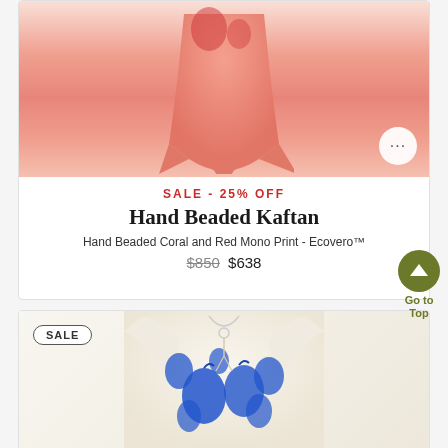[Figure (photo): Coral and red kaftan top on white background, showing draped fabric with handkerchief hemline]
SALE - 25% OFF
Hand Beaded Kaftan
Hand Beaded Coral and Red Mono Print - Ecovero™
$850 $638
[Figure (photo): White blouse with blue floral sequin print, long sleeves, keyhole neckline with tassel tie]
SALE